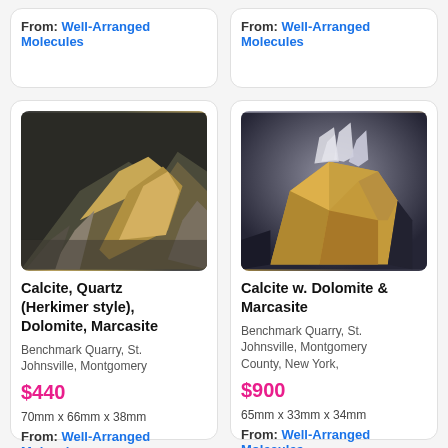From: Well-Arranged Molecules
From: Well-Arranged Molecules
[Figure (photo): Close-up photograph of Calcite, Quartz (Herkimer style), Dolomite, Marcasite mineral specimen on dark rocky matrix with golden-yellow crystals]
Calcite, Quartz (Herkimer style), Dolomite, Marcasite
Benchmark Quarry, St. Johnsville, Montgomery
$440
70mm x 66mm x 38mm
From: Well-Arranged Molecules
[Figure (photo): Close-up photograph of Calcite with Dolomite and Marcasite mineral specimen showing amber-yellow translucent crystals with white crystalline growths on top against dark background]
Calcite w. Dolomite & Marcasite
Benchmark Quarry, St. Johnsville, Montgomery County, New York,
$900
65mm x 33mm x 34mm
From: Well-Arranged Molecules